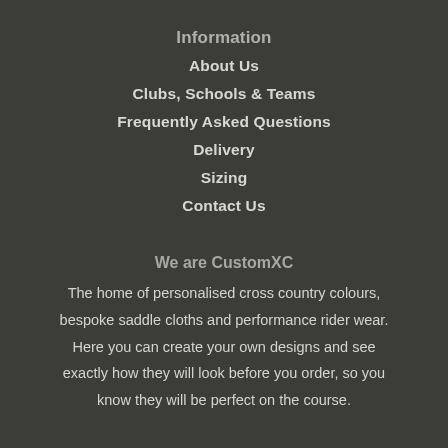Information
About Us
Clubs, Schools & Teams
Frequently Asked Questions
Delivery
Sizing
Contact Us
We are CustomXC
The home of personalised cross country colours, bespoke saddle cloths and performance rider wear. Here you can create your own designs and see exactly how they will look before you order, so you know they will be perfect on the course.